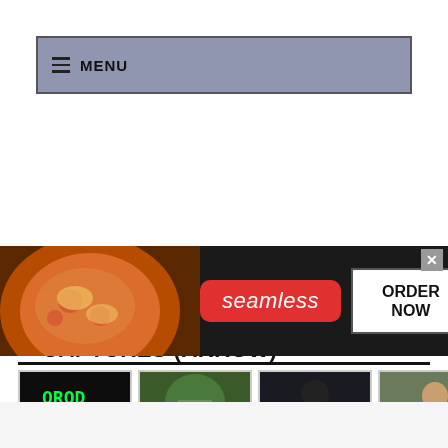≡ MENU
LAST UPDATED ALBUMS – SCREEN CAPTURES (ARROW)
[Figure (screenshot): Row of six Arrow TV show screen capture thumbnails]
[Figure (screenshot): Seamless food delivery advertisement banner with pizza image, Seamless logo and ORDER NOW button]